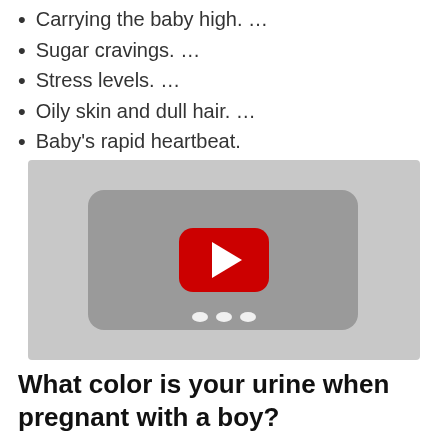Carrying the baby high. …
Sugar cravings. …
Stress levels. …
Oily skin and dull hair. …
Baby's rapid heartbeat.
[Figure (screenshot): YouTube video thumbnail showing a play button (red rounded rectangle with white triangle) on a grey background]
What color is your urine when pregnant with a boy?